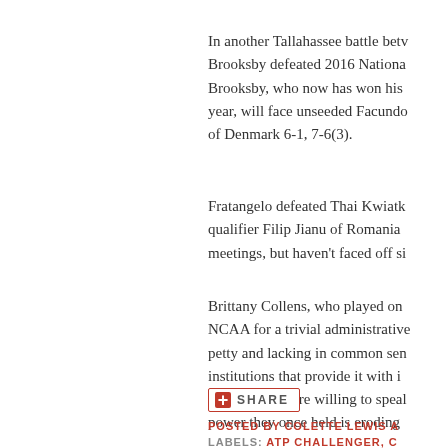In another Tallahassee battle betv Brooksby defeated 2016 Nationa Brooksby, who now has won his year, will face unseeded Facundo of Denmark 6-1, 7-6(3).
Fratangelo defeated Thai Kwiatk qualifier Filip Jianu of Romania meetings, but haven't faced off si
Brittany Collens, who played on NCAA for a trivial administrative petty and lacking in common sen institutions that provide it with i athletes are more willing to speal power they once held is eroding
[Figure (other): Share button with red plus icon and SHARE text]
POSTED BY COLETTE LEWIS A
LABELS: ATP CHALLENGER, C